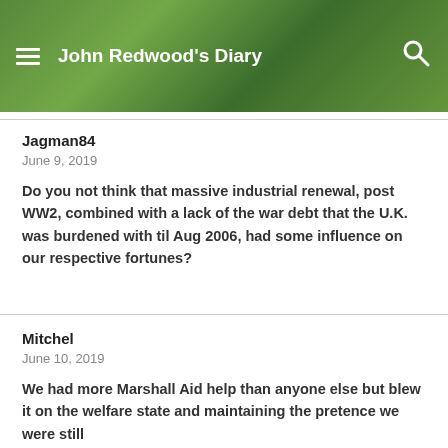John Redwood's Diary
Jagman84
June 9, 2019
Do you not think that massive industrial renewal, post WW2, combined with a lack of the war debt that the U.K. was burdened with til Aug 2006, had some influence on our respective fortunes?
Mitchel
June 10, 2019
We had more Marshall Aid help than anyone else but blew it on the welfare state and maintaining the pretence we were still a global big noise.